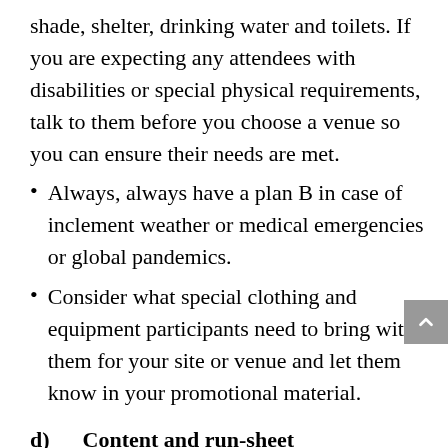shade, shelter, drinking water and toilets. If you are expecting any attendees with disabilities or special physical requirements, talk to them before you choose a venue so you can ensure their needs are met.
Always, always have a plan B in case of inclement weather or medical emergencies or global pandemics.
Consider what special clothing and equipment participants need to bring with them for your site or venue and let them know in your promotional material.
d)      Content and run-sheet
The hardest thing about running a big event is getting everything to happen on time and